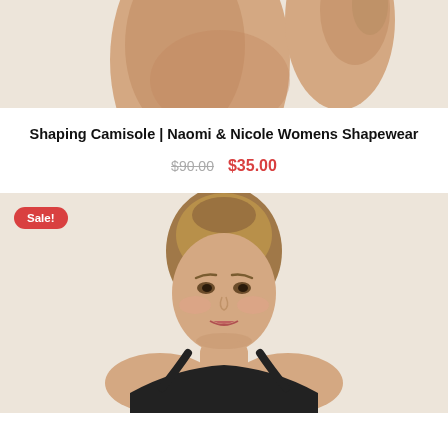[Figure (photo): Top portion of a product photo showing a woman's torso and hand, wearing shapewear, against a beige background.]
Shaping Camisole | Naomi & Nicole Womens Shapewear
$90.00  $35.00
[Figure (photo): Product photo of a woman wearing a black shapewear camisole against a beige background, with a 'Sale!' badge in the top-left corner.]